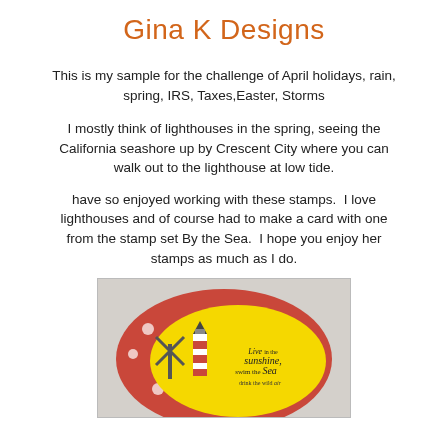Gina K Designs
This is my sample for the challenge of April holidays, rain, spring, IRS, Taxes,Easter, Storms
I mostly think of lighthouses in the spring, seeing the California seashore up by Crescent City where you can walk out to the lighthouse at low tide.
have so enjoyed working with these stamps.  I love lighthouses and of course had to make a card with one from the stamp set By the Sea.  I hope you enjoy her stamps as much as I do.
[Figure (photo): A handmade card featuring a lighthouse on a yellow oval background set on a red/coral card with small white circle accents. Text on card reads: 'Live in the sunshine, swim the Sea, drink the wild air']